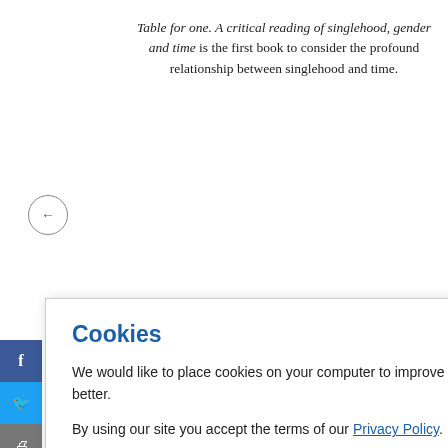Table for one. A critical reading of singlehood, gender and time is the first book to consider the profound relationship between singlehood and time.
[Figure (screenshot): Cookie consent dialog box with title 'Cookies', body text about placing cookies, a Privacy Policy link, and an OKAY, THANKS button.]